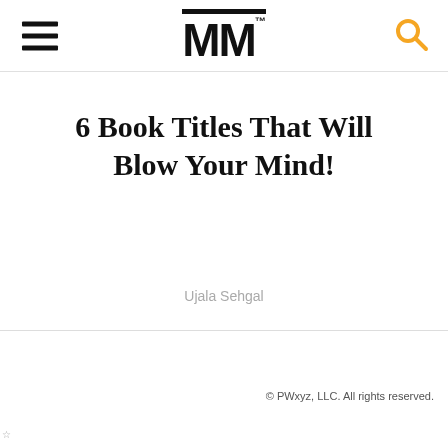MM
6 Book Titles That Will Blow Your Mind!
Ujala Sehgal
© PWxyz, LLC. All rights reserved.